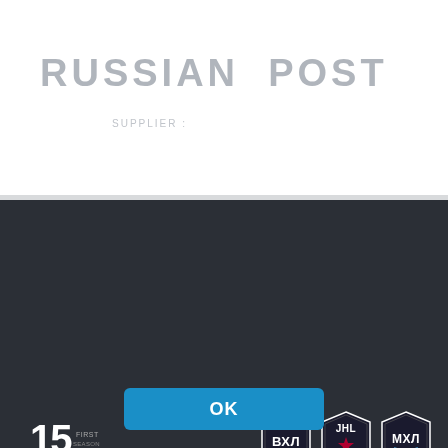RUSSIAN POST
SUPPLIER
[Figure (logo): KHL 15th anniversary logo in white on dark background]
[Figure (logo): VHL (ВХЛ) shield logo]
[Figure (logo): JHL shield logo with star]
[Figure (logo): MHL (МХЛ) shield logo]
[Figure (illustration): YouTube icon button (dark rounded square)]
[Figure (illustration): Telegram icon button (dark rounded square)]
By continuing to use this site, you consent to the use of cookies for the purposes described in "CHL LLC Website Terms of Use" and you acknowledge that you accept the "CHL LLC Website Terms of Use". You can disable the use of cookies in your browser settings
OK